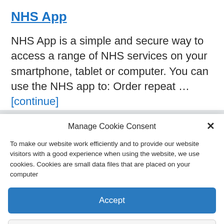NHS App
NHS App is a simple and secure way to access a range of NHS services on your smartphone, tablet or computer. You can use the NHS app to: Order repeat … [continue]
Manage Cookie Consent
To make our website work efficiently and to provide our website visitors with a good experience when using the website, we use cookies. Cookies are small data files that are placed on your computer
Accept
Deny